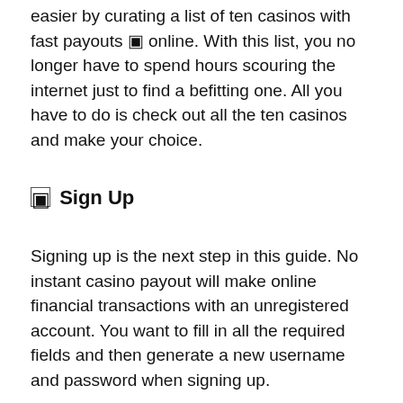easier by curating a list of ten casinos with fast payouts online. With this list, you no longer have to spend hours scouring the internet just to find a befitting one. All you have to do is check out all the ten casinos and make your choice.
🔢 Sign Up
Signing up is the next step in this guide. No instant casino payout will make online financial transactions with an unregistered account. You want to fill in all the required fields and then generate a new username and password when signing up.
🔢 Go to the Banking Section
Something about the banking section of the casino and